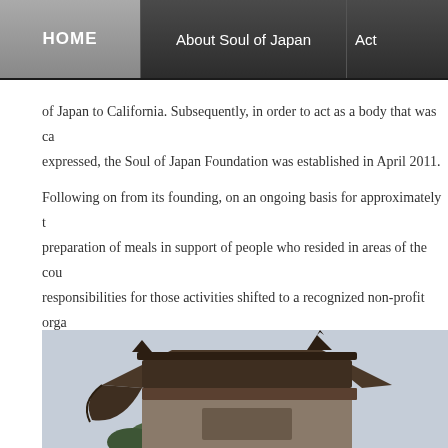HOME | About Soul of Japan | Act
of Japan to California. Subsequently, in order to act as a body that was ca expressed, the Soul of Japan Foundation was established in April 2011.
Following on from its founding, on an ongoing basis for approximately t preparation of meals in support of people who resided in areas of the cou responsibilities for those activities shifted to a recognized non-profit orga a platform for Japanese food.” Having done so, to this day, the foundatio Japan and abroad. along with a number of food industry-related compani
[Figure (photo): Japanese temple roof corner against a grey sky, partial view showing curved eave and decorative ridge tiles]